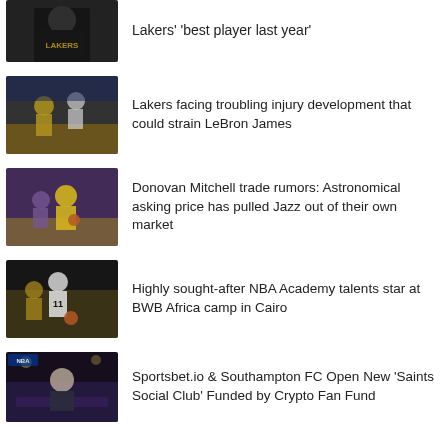[Figure (photo): Partial photo of a person in a Lakers hoodie sitting]
Lakers' 'best player last year'
[Figure (photo): Basketball players on court during a Lakers game]
Lakers facing troubling injury development that could strain LeBron James
[Figure (photo): Donovan Mitchell playing basketball in a Jazz uniform]
Donovan Mitchell trade rumors: Astronomical asking price has pulled Jazz out of their own market
[Figure (photo): NBA Academy player wearing number 11 jersey in action]
Highly sought-after NBA Academy talents star at BWB Africa camp in Cairo
[Figure (photo): TV studio scene with a man speaking on a sports show]
Sportsbet.io & Southampton FC Open New 'Saints Social Club' Funded by Crypto Fan Fund